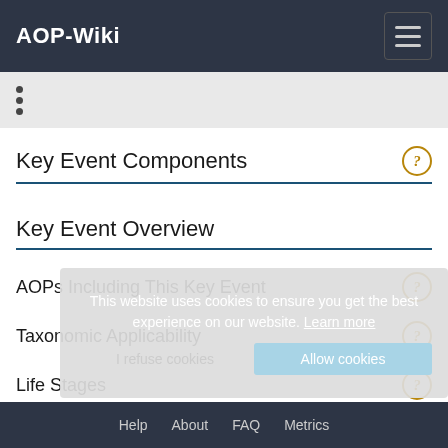AOP-Wiki
•
•
•
Key Event Components
Key Event Overview
AOPs Including This Key Event
Taxonomic Applicability
Life Stages
This website uses cookies to ensure you get the best experience on our website. Learn more
Help  About  FAQ  Metrics